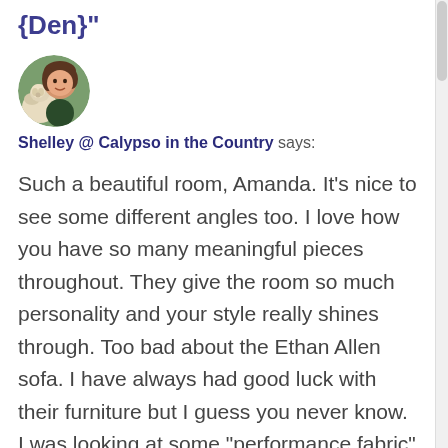{Den}”
[Figure (photo): Circular avatar photo of a woman smiling with a light-colored dog]
Shelley @ Calypso in the Country says:
Such a beautiful room, Amanda. It’s nice to see some different angles too. I love how you have so many meaningful pieces throughout. They give the room so much personality and your style really shines through. Too bad about the Ethan Allen sofa. I have always had good luck with their furniture but I guess you never know. I was looking at some “performance fabric” chairs at Restoration Hardware recently and the sales woman swore they would be great for kids and pets as well. It does really sound too good to be